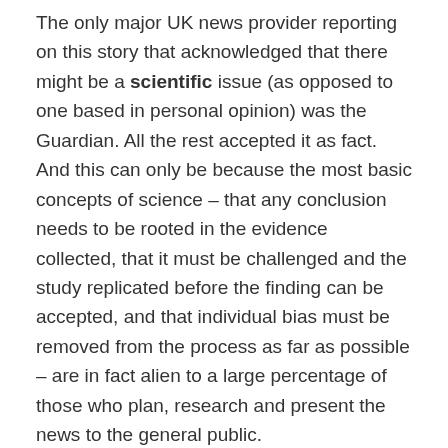The only major UK news provider reporting on this story that acknowledged that there might be a scientific issue (as opposed to one based in personal opinion) was the Guardian. All the rest accepted it as fact. And this can only be because the most basic concepts of science – that any conclusion needs to be rooted in the evidence collected, that it must be challenged and the study replicated before the finding can be accepted, and that individual bias must be removed from the process as far as possible – are in fact alien to a large percentage of those who plan, research and present the news to the general public.
So is vegan – or raw – food really healthier for dogs?